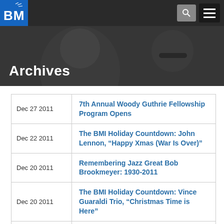BMI Archives
Archives
| Date | Title |
| --- | --- |
| Dec 27 2011 | 7th Annual Woody Guthrie Fellowship Program Opens |
| Dec 22 2011 | The BMI Holiday Countdown: John Lennon, “Happy Xmas (War Is Over)” |
| Dec 20 2011 | Remembering Jazz Great Bob Brookmeyer: 1930-2011 |
| Dec 20 2011 | The BMI Holiday Countdown: Vince Guaraldi Trio, “Christmas Time is Here” |
| Dec 15 2011 | The BMI Holiday Countdown: Run-D.M.C., “Christmas in Hollis” |